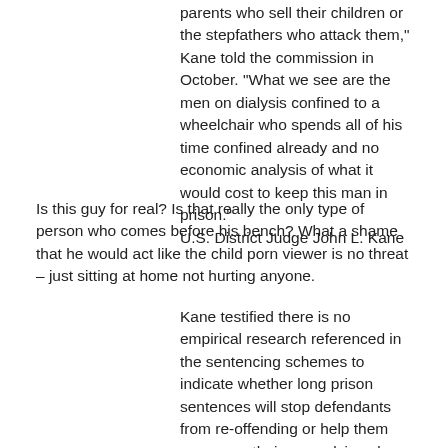parents who sell their children or the stepfathers who attack them," Kane told the commission in October. "What we see are the men on dialysis confined to a wheelchair who spends all of his time confined already and no economic analysis of what it would cost to keep this man in prison." U.S. District Judge John L. Kane
Is this guy for real? Is that really the only type of person who comes before his bench? What a shame that he would act like the child porn viewer is no threat – just sitting at home not hurting anyone.
Kane testified there is no empirical research referenced in the sentencing schemes to indicate whether long prison sentences will stop defendants from re-offending or help them overcome their compulsions by the time they get out of prison.
At least if they are in prison we know children are safe from them. Part of going to prison is punishment. If we can do